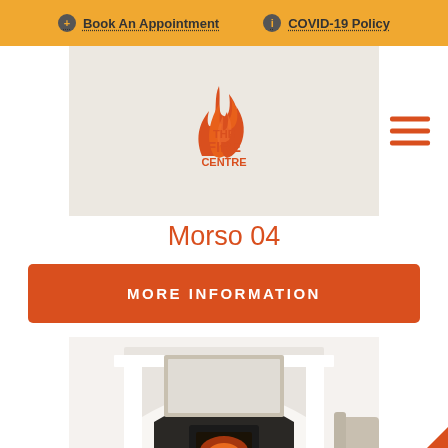Book An Appointment   COVID-19 Policy
[Figure (logo): The Fire Centre logo with flame graphic, orange text reading THE FIRE CENTRE]
Morso 04
MORE INFORMATION
[Figure (photo): A Morso 04 wood burning stove installed in a white fireplace surround with mirror above, candles and armchair visible]